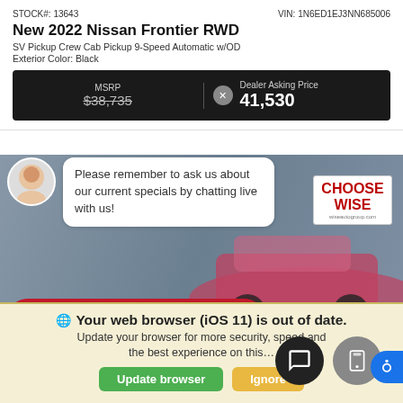STOCK#: 13643
VIN: 1N6ED1EJ3NN685006
New 2022 Nissan Frontier RWD
SV Pickup Crew Cab Pickup 9-Speed Automatic w/OD
Exterior Color: Black
| MSRP | Dealer Asking Price |
| --- | --- |
| $38,735 (strikethrough) | 41,530 |
Please remember to ask us about our current specials by chatting live with us!
Schedule Service
Enter your message
website and our service.
CHOOSE WISE
wiseautogroup.com
Your web browser (iOS 11) is out of date. Update your browser for more security, speed and the best experience on this…
Update browser
Ignore